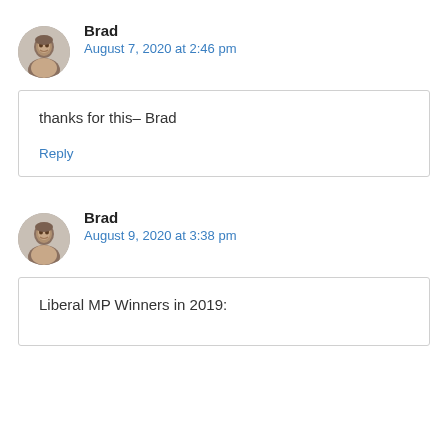Brad
August 7, 2020 at 2:46 pm
thanks for this– Brad
Reply
[Figure (photo): Circular avatar photo of Brad, a man with short hair]
Brad
August 9, 2020 at 3:38 pm
Liberal MP Winners in 2019:
[Figure (photo): Circular avatar photo of Brad, a man with short hair]